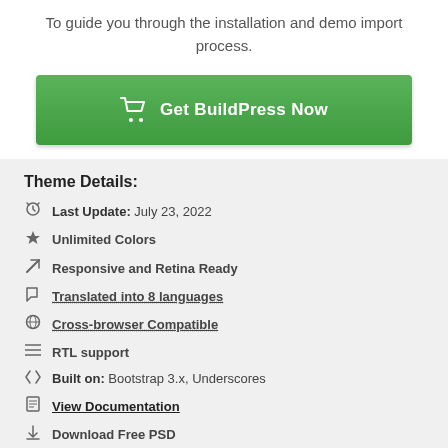To guide you through the installation and demo import process.
[Figure (other): Green button with shopping cart icon labeled 'Get BuildPress Now']
Theme Details:
Last Update: July 23, 2022
Unlimited Colors
Responsive and Retina Ready
Translated into 8 languages
Cross-browser Compatible
RTL support
Built on: Bootstrap 3.x, Underscores
View Documentation
Download Free PSD